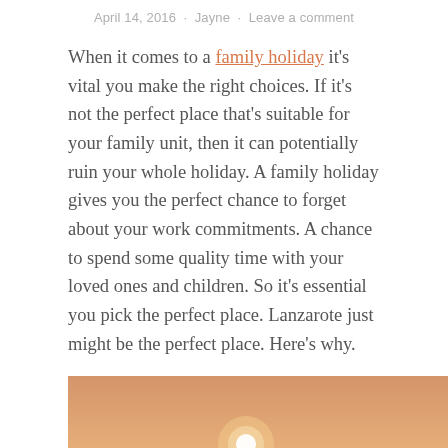April 14, 2016 · Jayne · Leave a comment
When it comes to a family holiday it's vital you make the right choices. If it's not the perfect place that's suitable for your family unit, then it can potentially ruin your whole holiday. A family holiday gives you the perfect chance to forget about your work commitments. A chance to spend some quality time with your loved ones and children. So it's essential you pick the perfect place. Lanzarote just might be the perfect place. Here's why.
[Figure (photo): Sunset over the ocean with rocky coastline, warm orange and golden sky tones, white surf on waves, dark rocks in foreground]